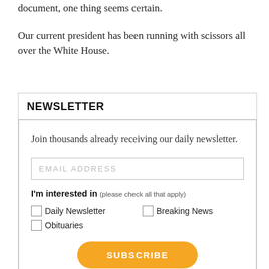document, one thing seems certain.
Our current president has been running with scissors all over the White House.
NEWSLETTER
Join thousands already receiving our daily newsletter.
EMAIL ADDRESS
I'm interested in (please check all that apply)
Daily Newsletter
Breaking News
Obituaries
SUBSCRIBE